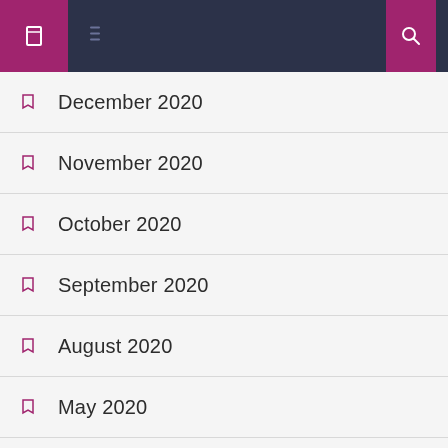Navigation header with menu and search icons
December 2020
November 2020
October 2020
September 2020
August 2020
May 2020
March 2020
February 2020
January 2020
December 2019